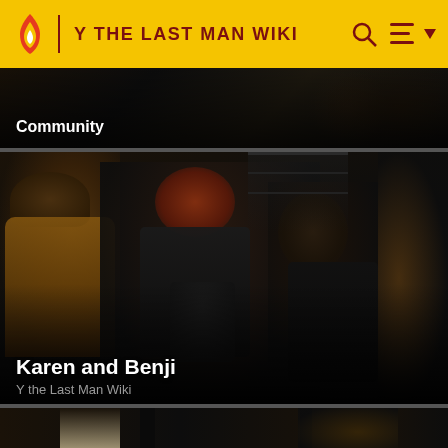Y THE LAST MAN WIKI
[Figure (screenshot): Dark thumbnail image with 'Community' label overlay - wiki community page card]
[Figure (photo): Scene from Y The Last Man showing characters Karen and Benji, with a woman holding a child in a dark storage-like setting, another woman facing them]
Karen and Benji
Y the Last Man Wiki
[Figure (photo): Partial view of another scene from Y The Last Man, showing figures in a dimly lit interior]